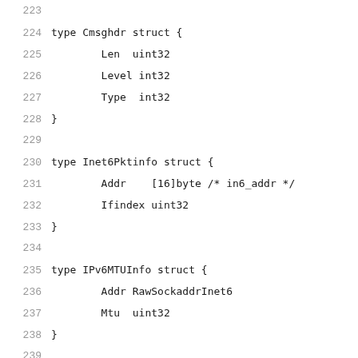223
224 type Cmsghdr struct {
225     Len  uint32
226     Level int32
227     Type  int32
228 }
229
230 type Inet6Pktinfo struct {
231     Addr    [16]byte /* in6_addr */
232     Ifindex uint32
233 }
234
235 type IPv6MTUInfo struct {
236     Addr RawSockaddrInet6
237     Mtu  uint32
238 }
239
240 type ICMPv6Filter struct {
241     Filt [8]uint32
242 }
243
244 const (